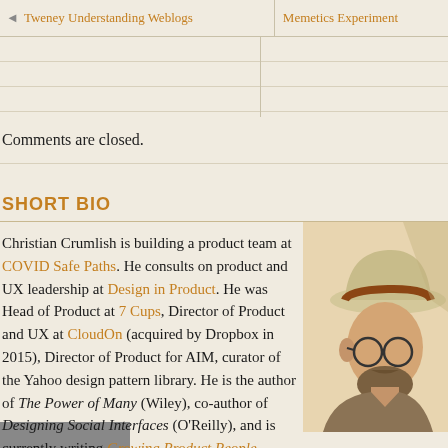Tweney Understanding Weblogs | Memetics Experiment
Comments are closed.
SHORT BIO
Christian Crumlish is building a product team at COVID Safe Paths. He consults on product and UX leadership at Design in Product. He was Head of Product at 7 Cups, Director of Product and UX at CloudOn (acquired by Dropbox in 2015), Director of Product for AIM, curator of the Yahoo design pattern library. He is the author of The Power of Many (Wiley), co-author of Designing Social Interfaces (O'Reilly), and is currently writing Growing Product People (Sense & Respond).
[Figure (illustration): Illustrated portrait of a man wearing a fedora hat and glasses, shown from the shoulders up in a stylized artistic rendering.]